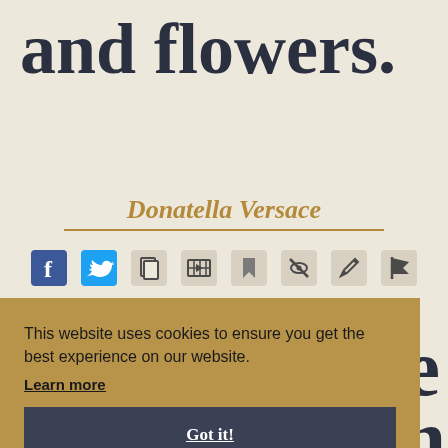and flowers.
Donatella Versace
[Figure (infographic): Row of social media and action icons: Facebook, Twitter, copy, video, bookmark, hide, edit/pen, flag]
e
on
This website uses cookies to ensure you get the best experience on our website. Learn more
Got it!